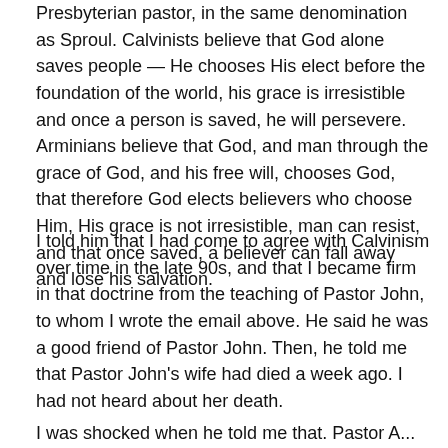Presbyterian pastor, in the same denomination as Sproul. Calvinists believe that God alone saves people — He chooses His elect before the foundation of the world, his grace is irresistible and once a person is saved, he will persevere.  Arminians believe that God, and man through the grace of God, and his free will, chooses God, that therefore God elects believers who choose Him, His grace is not irresistible, man can resist, and that once saved, a believer can fall away and lose his salvation.
I told him that I had come to agree with Calvinism over time in the late 90s, and that I became firm in that doctrine from the teaching of Pastor John, to whom I wrote the email above.  He said he was a good friend of Pastor John.  Then, he told me that Pastor John's wife had died a week ago.  I had not heard about her death.
I was shocked when he told me that. Pastor John...